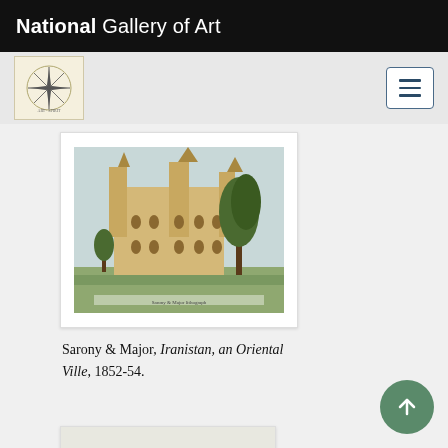National Gallery of Art
[Figure (illustration): Painting of an ornate Victorian-era building (Iranistan) with trees in landscape setting, colored lithograph]
Sarony & Major, Iranistan, an Oriental Ville, 1852-54.
[Figure (photo): Partial view of a second artwork, black and white, partially visible at bottom of page]